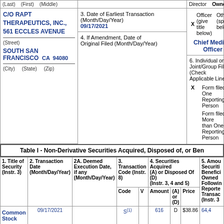(Last) (First) (Middle)
C/O RAPT THERAPEUTICS, INC., 561 ECCLES AVENUE
3. Date of Earliest Transaction (Month/Day/Year) 09/17/2021
Director Owner Officer (give title below) Other (specify below) X Chief Medical Officer
(Street)
SOUTH SAN FRANCISCO CA 94080
4. If Amendment, Date of Original Filed (Month/Day/Year)
6. Individual or Joint/Group Filing (Check Applicable Line) X Form filed by One Reporting Person Form filed by More than One Reporting Person
(City) (State) (Zip)
Table I - Non-Derivative Securities Acquired, Disposed of, or Beneficially Owned
| 1. Title of Security (Instr. 3) | 2. Transaction Date (Month/Day/Year) | 2A. Deemed Execution Date, if any (Month/Day/Year) | 3. Transaction Code (Instr. 8) Code | V | 4. Securities Acquired (A) or Disposed Of (D) (Instr. 3, 4 and 5) Amount | (A) or (D) | Price | 5. Amount of Securities Beneficially Owned Following Reported Transaction(s) (Instr. 3... |
| --- | --- | --- | --- | --- | --- | --- | --- | --- |
| Common Stock | 09/17/2021 |  | S(1) |  | 616 | D | $38.86 | 64,4... |
| Common Stock | 09/17/2021 |  | S(1) |  | 302 | D | $38.86 | 64,1... |